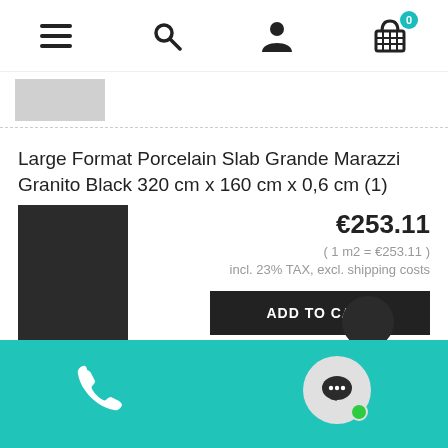Navigation bar with menu, search, account, and cart (0 items) icons
[Figure (photo): Small thumbnail image strip of a dark stone/tile product]
Large Format Porcelain Slab Grande Marazzi Granito Black 320 cm x 160 cm x 0,6 cm (1)
[Figure (photo): Dark black/charcoal rectangular tile product image]
€253.11
( 1 m2 = €253.11 )
incl. 23% TAX, excl. shipping costs
ADD TO CART
Teal footer bar with phone icon and chat bubble icon with green dot indicator